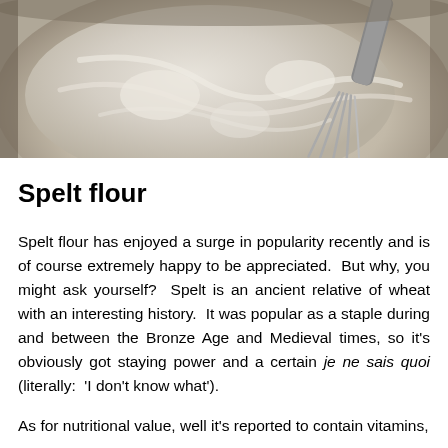[Figure (photo): Photo of a metal mixing bowl containing light-colored flour being whisked with a metal whisk, viewed from above]
Spelt flour
Spelt flour has enjoyed a surge in popularity recently and is of course extremely happy to be appreciated.  But why, you might ask yourself?  Spelt is an ancient relative of wheat with an interesting history.  It was popular as a staple during and between the Bronze Age and Medieval times, so it's obviously got staying power and a certain je ne sais quoi (literally:  'I don't know what').
As for nutritional value, well it's reported to contain vitamins,